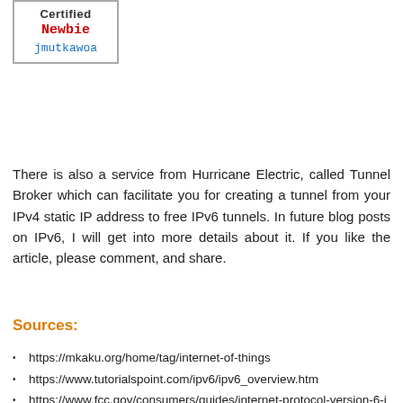[Figure (other): User badge box showing 'Certified', 'Newbie' in red monospace, and username 'jmutkawoa' in blue monospace]
There is also a service from Hurricane Electric, called Tunnel Broker which can facilitate you for creating a tunnel from your IPv4 static IP address to free IPv6 tunnels. In future blog posts on IPv6, I will get into more details about it. If you like the article, please comment, and share.
Sources:
https://mkaku.org/home/tag/internet-of-things
https://www.tutorialspoint.com/ipv6/ipv6_overview.htm
https://www.fcc.gov/consumers/guides/internet-protocol-version-6-ipv6-consumers
https://www.radioworld.com/tech-and-gear/getting-to-know-ipv6
https://techiemaster.wordpress.com/2016/08/15/what-is-unicast-broadcast-multicast-anycast